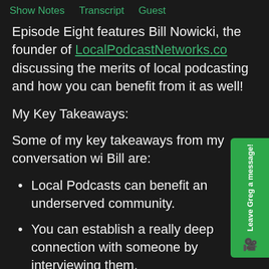Show Notes   Transcript   Guest
Episode Eight features Bill Nowicki, the founder of LocalPodcastNetworks.co discussing the merits of local podcasting and how you can benefit from it as well!
My Key Takeaways:
Some of my key takeaways from my conversation with Bill are:
Local Podcasts can benefit an underserved community.
You can establish a really deep connection with someone by interviewing them.
Marietta Stories  Bill's local podcast dedicated to